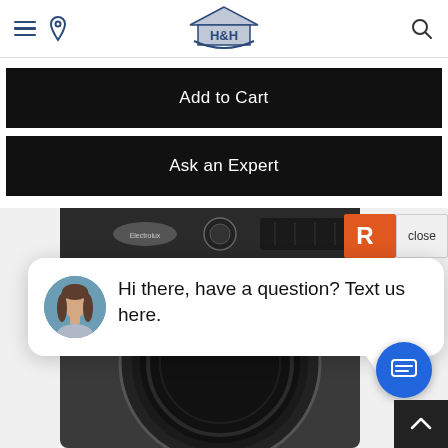H&H logo, hamburger menu, location pin, search icon
Add to Cart
Ask an Expert
[Figure (photo): Electrolux front-load washing machine in titanium/dark grey color, showing the control panel and door porthole, product page image]
[Figure (screenshot): Chat widget popup with woman avatar and message: Hi there, have a question? Text us here. Partially visible orange badge with 'R' and close button overlay]
Hi there, have a question? Text us here.